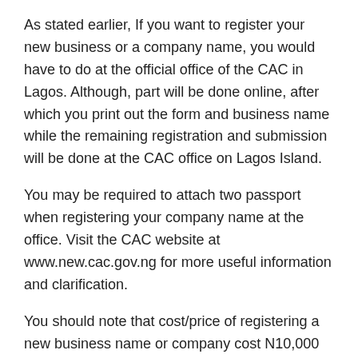As stated earlier, If you want to register your new business or a company name, you would have to do at the official office of the CAC in Lagos. Although, part will be done online, after which you print out the form and business name while the remaining registration and submission will be done at the CAC office on Lagos Island.
You may be required to attach two passport when registering your company name at the office. Visit the CAC website at www.new.cac.gov.ng for more useful information and clarification.
You should note that cost/price of registering a new business name or company cost N10,000 or more due to the recent economic crises rocking Nigeria. After you have submitted the printed documents at their official office, CAC will then process your submission and issue you with the Corporate Certificate.